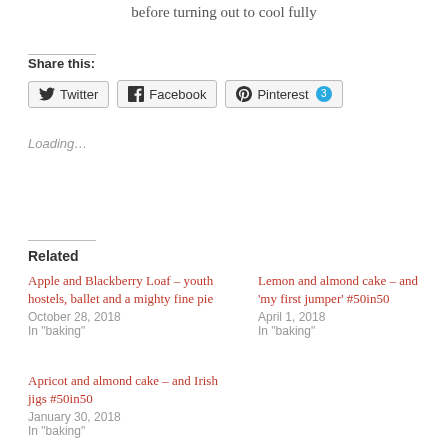before turning out to cool fully
Share this:
Twitter  Facebook  Pinterest 3
Loading…
Related
Apple and Blackberry Loaf – youth hostels, ballet and a mighty fine pie
October 28, 2018
In "baking"
Lemon and almond cake – and 'my first jumper' #50in50
April 1, 2018
In "baking"
Apricot and almond cake – and Irish jigs #50in50
January 30, 2018
In "baking"